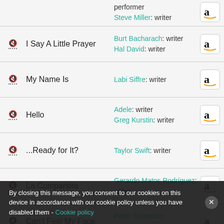|  | Song | Credits | Buy |
| --- | --- | --- | --- |
|  |  | performer
Steve Miller: writer | Amazon |
| 🔇 | I Say A Little Prayer | Burt Bacharach: writer
Hal David: writer | Amazon |
| 🔇 | My Name Is | Labi Siffre: writer | Amazon |
| 🔇 | Hello | Adele: writer
Greg Kurstin: writer | Amazon |
| 🔇 | ...Ready for It? | Taylor Swift: writer | Amazon |
| 🔇 | La Cumparsita | Gerardo Matos Rodríguez: writer | Amazon |
| 🔇 | Can't Feel My Face | Peter Svensson: writer | Amazon |
| 🔇 | I Say A Little Prayer | Pharrell Williams: performer | Amazon |
By closing this message, you consent to our cookies on this device in accordance with our cookie policy unless you have disabled them - Cookie policy